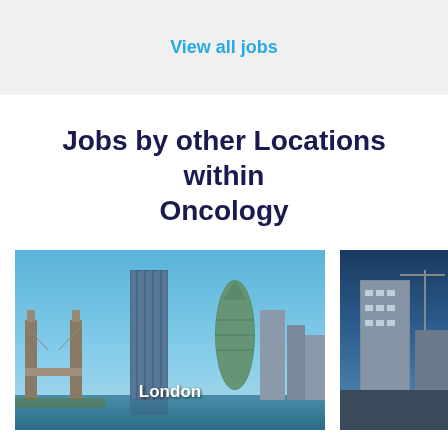View all jobs
Jobs by other Locations within Oncology
[Figure (photo): City skyline photo of London showing Tower Bridge and modern skyscrapers including the Gherkin, with blue sky]
London
[Figure (photo): Partial city skyline photo with buildings and blue sky, cropped at right edge]